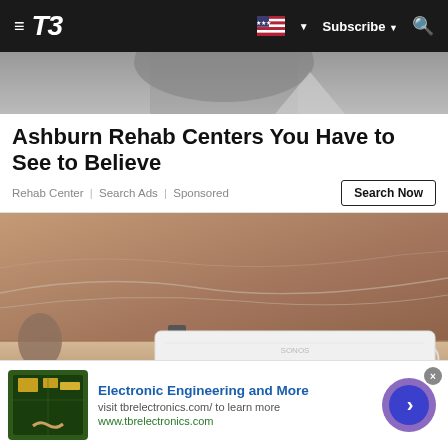T3
[Figure (photo): Partial black and white photo of a person, cropped at top]
Ashburn Rehab Centers You Have to See to Believe
Rehab Center | Search Ads | Sponsored
[Figure (photo): Photo of a white Sonos soundbar on a wooden table in front of a large TV showing a natural landscape]
[Figure (photo): Thumbnail image of electronic components being held]
Electronic Engineering and More
visit tbrelectronics.com/ to learn more
www.tbrelectronics.com